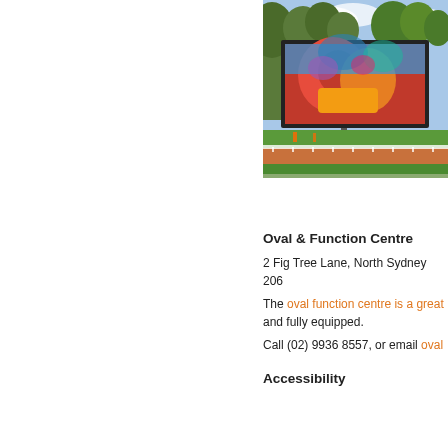[Figure (photo): Outdoor sports oval with a large digital LED billboard/screen showing colorful image, green grass field visible below, trees in background, track in foreground.]
Oval & Function Centre
2 Fig Tree Lane, North Sydney 206
The oval function centre is a great and fully equipped.
Call (02) 9936 8557, or email oval
Accessibility